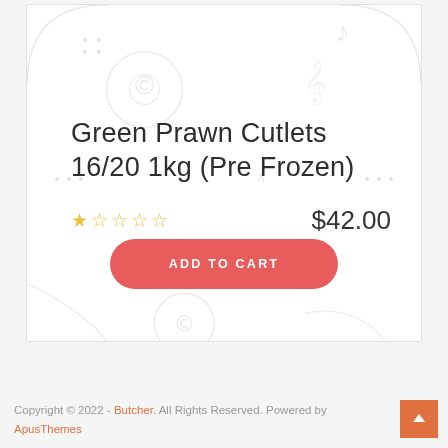Green Prawn Cutlets 16/20 1kg (Pre Frozen)
☆☆☆☆☆  $42.00
ADD TO CART
Copyright © 2022 - Butcher. All Rights Reserved. Powered by ApusThemes